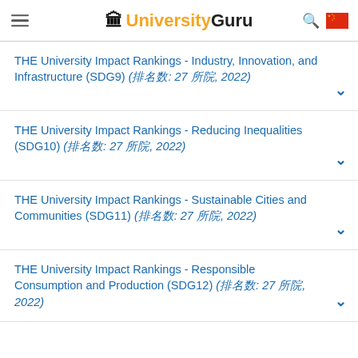UniversityGuru
THE University Impact Rankings - Industry, Innovation, and Infrastructure (SDG9) (排名数: 27 所院, 2022)
THE University Impact Rankings - Reducing Inequalities (SDG10) (排名数: 27 所院, 2022)
THE University Impact Rankings - Sustainable Cities and Communities (SDG11) (排名数: 27 所院, 2022)
THE University Impact Rankings - Responsible Consumption and Production (SDG12) (排名数: 27 所院, 2022)